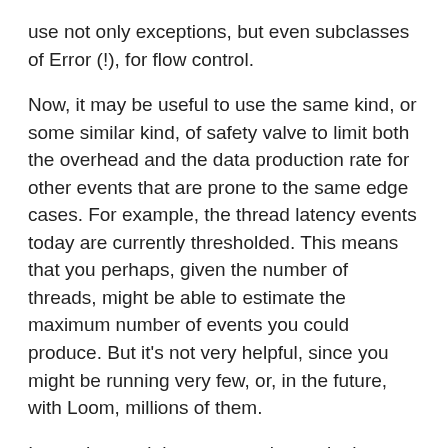use not only exceptions, but even subclasses of Error (!), for flow control.
Now, it may be useful to use the same kind, or some similar kind, of safety valve to limit both the overhead and the data production rate for other events that are prone to the same edge cases. For example, the thread latency events today are currently thresholded. This means that you perhaps, given the number of threads, might be able to estimate the maximum number of events you could produce. But it’s not very helpful, since you might be running very few, or, in the future, with Loom, millions of them.
Instead you might want to subsample them, at a max rate that you can set yourself, per event type. You could even allow for thresholding and rate limited sampling at the same time, accepting a certain bias, e.g. if you want to focus on longer lasting thread halts.